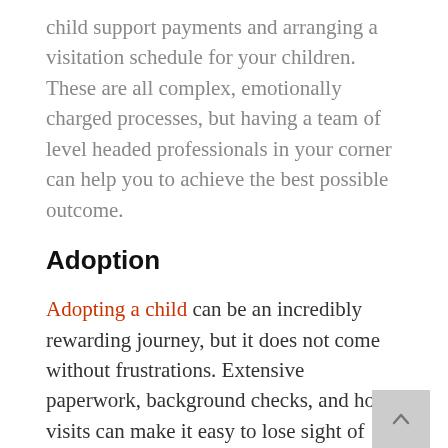child support payments and arranging a visitation schedule for your children. These are all complex, emotionally charged processes, but having a team of level headed professionals in your corner can help you to achieve the best possible outcome.
Adoption
Adopting a child can be an incredibly rewarding journey, but it does not come without frustrations. Extensive paperwork, background checks, and home visits can make it easy to lose sight of why you are pursuing the adoption. Having an experienced San Diego adoption lawyer in your corner can help to keep you focused and allow you to streamline the process as much as possible.
There are many types of child adoptions, including private adoptions, foster care adoptions,